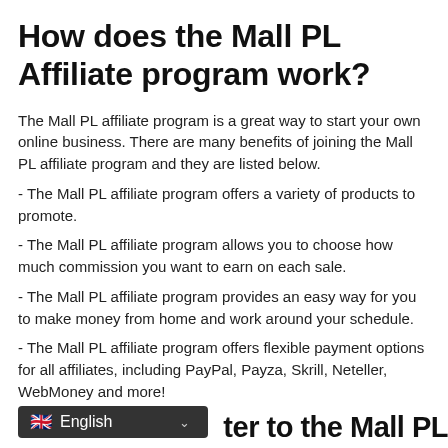How does the Mall PL Affiliate program work?
The Mall PL affiliate program is a great way to start your own online business. There are many benefits of joining the Mall PL affiliate program and they are listed below.
- The Mall PL affiliate program offers a variety of products to promote.
- The Mall PL affiliate program allows you to choose how much commission you want to earn on each sale.
- The Mall PL affiliate program provides an easy way for you to make money from home and work around your schedule.
- The Mall PL affiliate program offers flexible payment options for all affiliates, including PayPal, Payza, Skrill, Neteller, WebMoney and more!
English  ...ter to the Mall PL